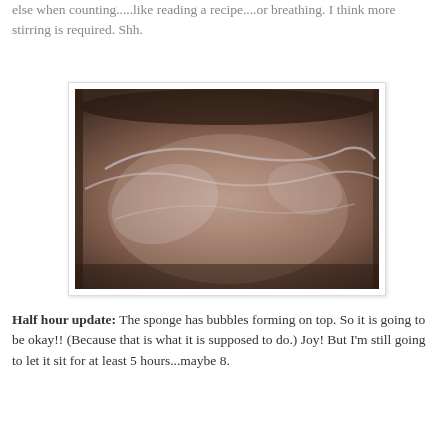else when counting.....like reading a recipe....or breathing.  I think more stirring is required.  Shh.
[Figure (photo): Photo of a bowl with brownish batter or sponge mixture covered with plastic wrap, viewed from above.]
Half hour update:  The sponge has bubbles forming on top.  So it is going to be okay!!  (Because that is what it is supposed to do.)  Joy!  But I'm still going to let it sit for at least 5 hours...maybe 8.